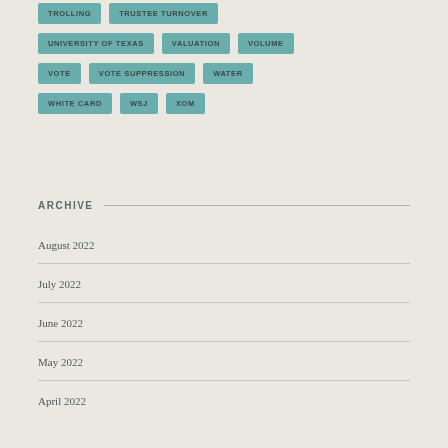TROLLING
TRUSTEE TURNOVER
UNIVERSITY OF TEXAS
VALUATION
VOLUME
VOTE
VOTE SUPPRESSION
WATER
WHITE CARD
WSJ
XOM
ARCHIVE
August 2022
July 2022
June 2022
May 2022
April 2022